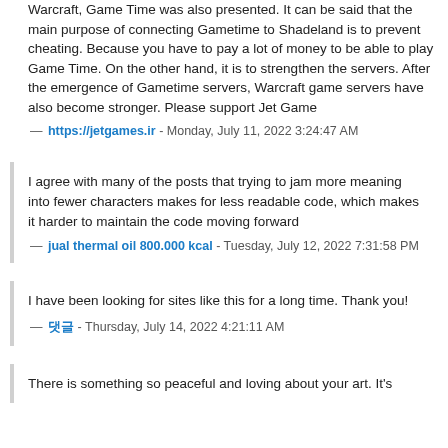Warcraft, Game Time was also presented. It can be said that the main purpose of connecting Gametime to Shadeland is to prevent cheating. Because you have to pay a lot of money to be able to play Game Time. On the other hand, it is to strengthen the servers. After the emergence of Gametime servers, Warcraft game servers have also become stronger. Please support Jet Game
— https://jetgames.ir - Monday, July 11, 2022 3:24:47 AM
I agree with many of the posts that trying to jam more meaning into fewer characters makes for less readable code, which makes it harder to maintain the code moving forward
— jual thermal oil 800.000 kcal - Tuesday, July 12, 2022 7:31:58 PM
I have been looking for sites like this for a long time. Thank you!
— 댓글 - Thursday, July 14, 2022 4:21:11 AM
There is something so peaceful and loving about your art. It's